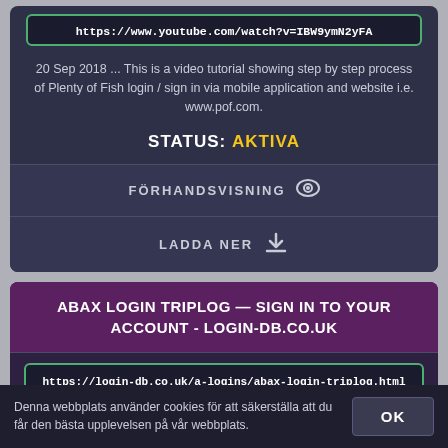https://www.youtube.com/watch?v=IBW9ymN2yFA
20 Sep 2018 ... This is a video tutorial showing step by step process of Plenty of Fish login / sign in via mobile application and website i.e. www.pof.com.
STATUS: AKTIVA
FÖRHANDSVISNING 👁
LADDA NER ⬇
ABAX LOGIN TRIPLOG — SIGN IN TO YOUR ACCOUNT - LOGIN-DB.CO.UK
https://login-db.co.uk/a-logins/abax-login-triplog.html
Apr 21, 2017 · Watch the ABAX Triplog Movie - Duration: 2:23. ABAX UK 3,756 views. ... TripLog - GPS Mileage Tracker ... Make Login and Register From Scratch
Denna webbplats använder cookies för att säkerställa att du får den bästa upplevelsen på vår webbplats.